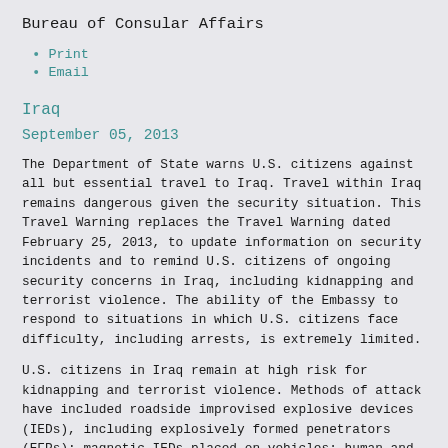Bureau of Consular Affairs
Print
Email
Iraq
September 05, 2013
The Department of State warns U.S. citizens against all but essential travel to Iraq. Travel within Iraq remains dangerous given the security situation. This Travel Warning replaces the Travel Warning dated February 25, 2013, to update information on security incidents and to remind U.S. citizens of ongoing security concerns in Iraq, including kidnapping and terrorist violence. The ability of the Embassy to respond to situations in which U.S. citizens face difficulty, including arrests, is extremely limited.
U.S. citizens in Iraq remain at high risk for kidnapping and terrorist violence. Methods of attack have included roadside improvised explosive devices (IEDs), including explosively formed penetrators (EFPs); magnetic IEDs placed on vehicles; human and vehicle-borne IEDs; mines placed on or concealed near roads; mortars and rockets; and shootings using various